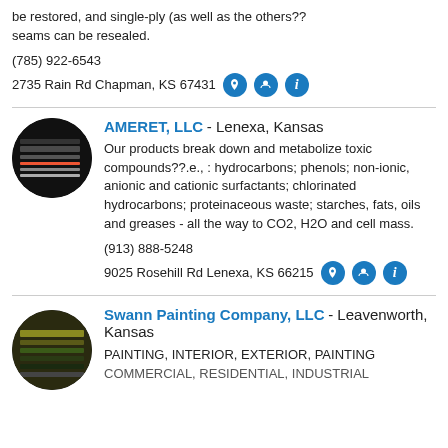be restored, and single-ply (as well as the others?? seams can be resealed.
(785) 922-6543
2735 Rain Rd Chapman, KS 67431
AMERET, LLC - Lenexa, Kansas
Our products break down and metabolize toxic compounds??.e., : hydrocarbons; phenols; non-ionic, anionic and cationic surfactants; chlorinated hydrocarbons; proteinaceous waste; starches, fats, oils and greases - all the way to CO2, H2O and cell mass.
(913) 888-5248
9025 Rosehill Rd Lenexa, KS 66215
Swann Painting Company, LLC - Leavenworth, Kansas
PAINTING, INTERIOR, EXTERIOR, PAINTING COMMERCIAL, RESIDENTIAL, INDUSTRIAL